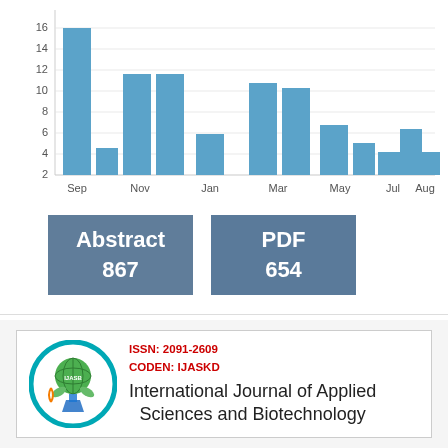[Figure (bar-chart): Monthly downloads]
Abstract 867
PDF 654
[Figure (logo): International Journal of Applied Sciences and Biotechnology logo - circular teal border with globe and science imagery]
ISSN: 2091-2609
CODEN: IJASKD
International Journal of Applied Sciences and Biotechnology